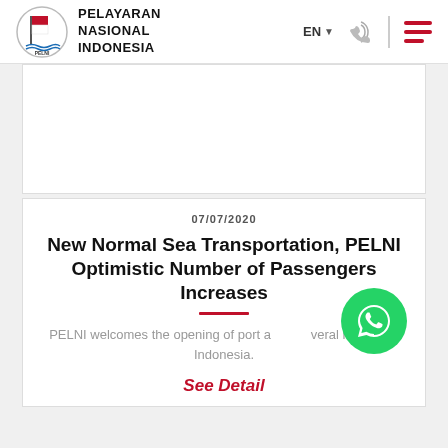PELAYARAN NASIONAL INDONESIA — EN — Navigation
[Figure (photo): Large image placeholder area, white background with thin border]
07/07/2020
New Normal Sea Transportation, PELNI Optimistic Number of Passengers Increases
PELNI welcomes the opening of port and several regions in Indonesia.
See Detail